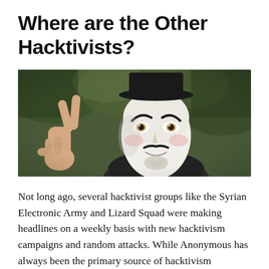Where are the Other Hacktivists?
[Figure (photo): A person wearing a white Guy Fawkes mask making a peace sign with their hand, photographed outdoors with a blurred background.]
Not long ago, several hacktivist groups like the Syrian Electronic Army and Lizard Squad were making headlines on a weekly basis with new hacktivism campaigns and random attacks. While Anonymous has always been the primary source of hacktivism throughout the world, it is interesting to see how these other prominent hacktivist groups' activity has essentially fallen